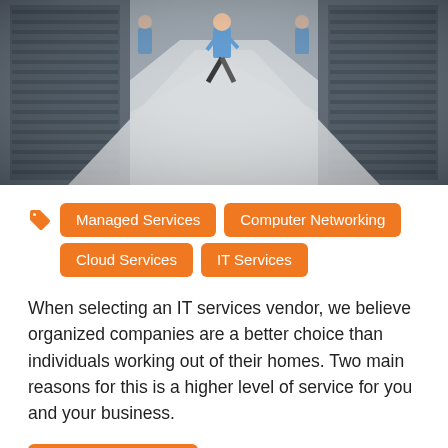[Figure (photo): Data center corridor with server racks on both sides and a person in blue shirt walking through the aisle]
Managed Services  Computer Networking  Cloud Services  IT Services
When selecting an IT services vendor, we believe organized companies are a better choice than individuals working out of their homes. Two main reasons for this is a higher level of service for you and your business.